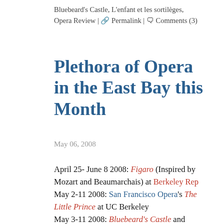Bluebeard's Castle, L'enfant et les sortilèges, Opera Review | Permalink | Comments (3)
Plethora of Opera in the East Bay this Month
May 06, 2008
April 25- June 8 2008: Figaro (Inspired by Mozart and Beaumarchais) at Berkeley Rep
May 2-11 2008: San Francisco Opera's The Little Prince at UC Berkeley
May 3-11 2008: Bluebeard's Castle and L'enfant et les sortilèges at Berkeley